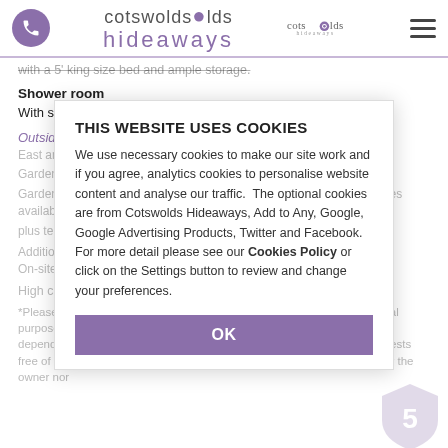Cotswolds Hideaways
with a 5' king size bed and ample storage.
Shower room
With shower, wash basin and WC. Underfloor heating.
Outside:
East and west facing sun terraces plus patio areas. Garden table and seating for six guests plus a charcoal barbeque. Garden games (croquet, boules) available. Details on additional facilities available at the property plus terms and conditions are available on our website.
Additional facilities: On-site parking.
High chair and travel cot available upon request.
*Please note, that internet access is offered at this property for recreational purposes only and is not meant for business use. Speed/service may vary depending on the package obtained by the owner which is provided to guests free of charge. Should guests experience difficulties or loss of use, neither the owner nor
THIS WEBSITE USES COOKIES
We use necessary cookies to make our site work and if you agree, analytics cookies to personalise website content and analyse our traffic. The optional cookies are from Cotswolds Hideaways, Add to Any, Google, Google Advertising Products, Twitter and Facebook. For more detail please see our Cookies Policy or click on the Settings button to review and change your preferences.
OK